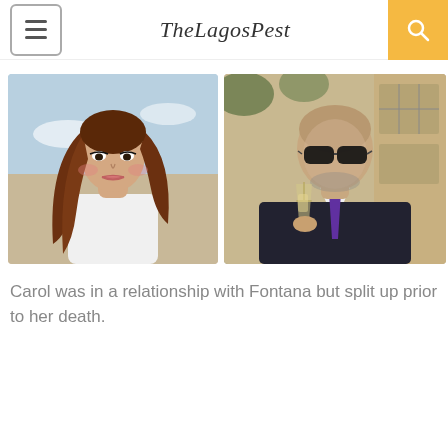TheLagosPost
[Figure (photo): Two side-by-side photos: left photo shows a young woman with long brown hair wearing a white top, looking back over her shoulder against a blue sky background; right photo shows a bald man wearing dark sunglasses, a dark suit with purple tie, holding a champagne glass, outdoors near a building.]
Carol was in a relationship with Fontana but split up prior to her death.